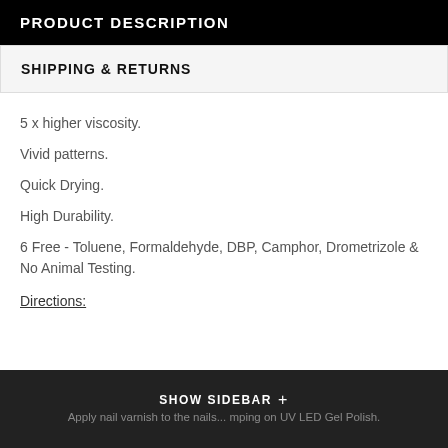PRODUCT DESCRIPTION
SHIPPING & RETURNS
5 x higher viscosity.
Vivid patterns.
Quick Drying.
High Durability.
6 Free - Toluene, Formaldehyde, DBP, Camphor, Drometrizole & No Animal Testing.
Directions:
Apply nail varnish to the nails ... mping on UV LED Gel Polish.
SHOW SIDEBAR +